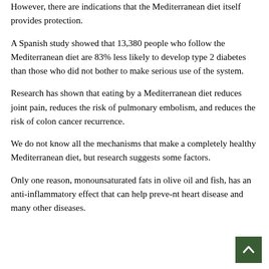However, there are indications that the Mediterranean diet itself provides protection.
A Spanish study showed that 13,380 people who follow the Mediterranean diet are 83% less likely to develop type 2 diabetes than those who did not bother to make serious use of the system.
Research has shown that eating by a Mediterranean diet reduces joint pain, reduces the risk of pulmonary embolism, and reduces the risk of colon cancer recurrence.
We do not know all the mechanisms that make a completely healthy Mediterranean diet, but research suggests some factors.
Only one reason, monounsaturated fats in olive oil and fish, has an anti-inflammatory effect that can help prevent heart disease and many other diseases.